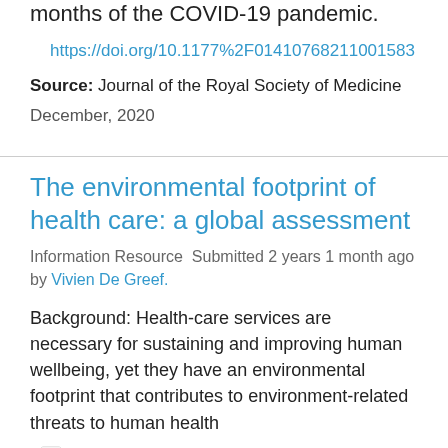months of the COVID-19 pandemic.
https://doi.org/10.1177%2F01410768211001583
Source: Journal of the Royal Society of Medicine
December, 2020
The environmental footprint of health care: a global assessment
Information Resource  Submitted 2 years 1 month ago by Vivien De Greef.
Background: Health-care services are necessary for sustaining and improving human wellbeing, yet they have an environmental footprint that contributes to environment-related threats to human health
The environmental footprint of health